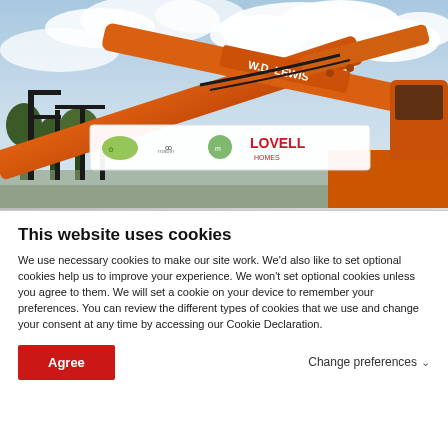[Figure (photo): Construction site photo showing an orange excavator arm branded 'W.D. LEWIS' holding a banner with logos including LOVELL HOMES, against a cloudy sky background.]
This website uses cookies
We use necessary cookies to make our site work. We'd also like to set optional cookies help us to improve your experience. We won't set optional cookies unless you agree to them. We will set a cookie on your device to remember your preferences. You can review the different types of cookies that we use and change your consent at any time by accessing our Cookie Declaration.
Agree
Change preferences